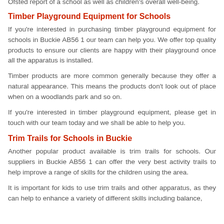Ofsted report of a school as well as children's overall well-being.
Timber Playground Equipment for Schools
If you're interested in purchasing timber playground equipment for schools in Buckie AB56 1 our team can help you. We offer top quality products to ensure our clients are happy with their playground once all the apparatus is installed.
Timber products are more common generally because they offer a natural appearance. This means the products don't look out of place when on a woodlands park and so on.
If you're interested in timber playground equipment, please get in touch with our team today and we shall be able to help you.
Trim Trails for Schools in Buckie
Another popular product available is trim trails for schools. Our suppliers in Buckie AB56 1 can offer the very best activity trails to help improve a range of skills for the children using the area.
It is important for kids to use trim trails and other apparatus, as they can help to enhance a variety of different skills including balance,